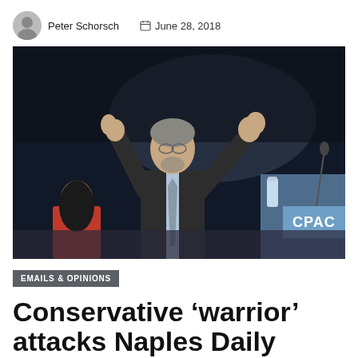Peter Schorsch   June 28, 2018
[Figure (photo): A man in a dark suit and tie with both arms raised at a CPAC event, standing at a podium, with a woman in a red top visible at left.]
EMAILS & OPINIONS
Conservative ‘warrior’ attacks Naples Daily